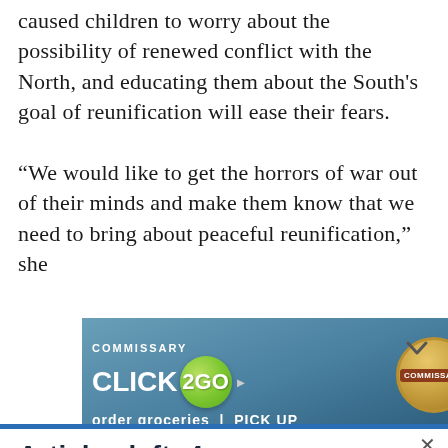Park said events like the February test have caused children to worry about the possibility of renewed conflict with the North, and educating them about the South's goal of reunification will ease their fears.
“We would like to get the horrors of war out of their minds and make them know that we need to bring about peaceful reunification,” she
[Figure (screenshot): Advertisement banner for Commissary Click2Go service showing green circle logo with '2GO' text, Commissary badge, and partial text 'order groceries' and 'PICK UP' at the bottom. Blue-teal gradient background.]
Articles left: 4
Subscribe to get unlimited access Subscribe
Already have an account? Login here